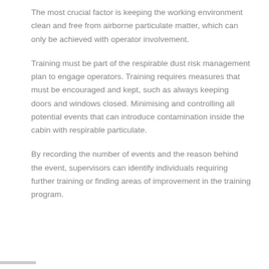The most crucial factor is keeping the working environment clean and free from airborne particulate matter, which can only be achieved with operator involvement.
Training must be part of the respirable dust risk management plan to engage operators. Training requires measures that must be encouraged and kept, such as always keeping doors and windows closed. Minimising and controlling all potential events that can introduce contamination inside the cabin with respirable particulate.
By recording the number of events and the reason behind the event, supervisors can identify individuals requiring further training or finding areas of improvement in the training program.